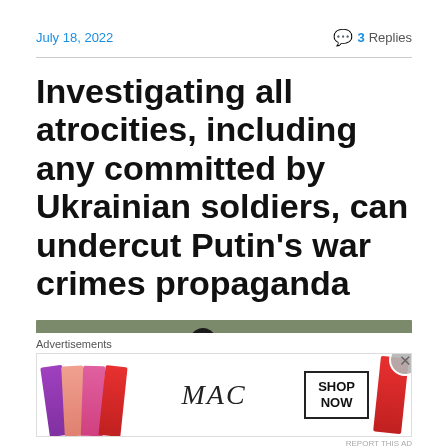July 18, 2022
💬 3 Replies
Investigating all atrocities, including any committed by Ukrainian soldiers, can undercut Putin's war crimes propaganda
[Figure (photo): A dark silhouetted figure standing on grass, viewed from behind]
Advertisements
[Figure (other): MAC cosmetics advertisement showing lipsticks and SHOP NOW box]